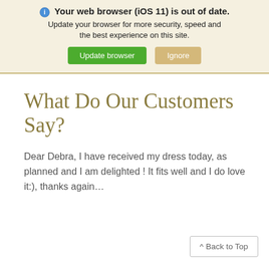Your web browser (iOS 11) is out of date. Update your browser for more security, speed and the best experience on this site. [Update browser] [Ignore]
What Do Our Customers Say?
Dear Debra, I have received my dress today, as planned and I am delighted ! It fits well and I do love it:), thanks again…
^ Back to Top